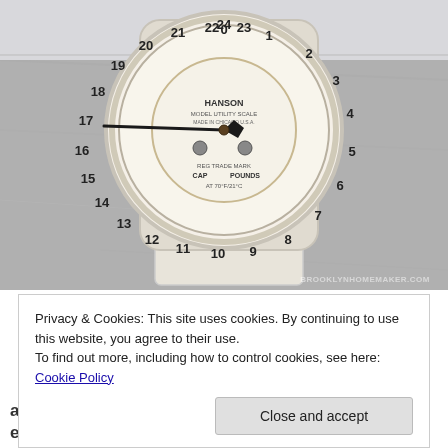[Figure (photo): A vintage Hanson Model utility scale with a round white dial face showing numbers 0-24, with a black arrow hand pointing near 17. The scale sits on a white base on a marble surface. Watermark reads BROOKLYNHOMEMAKER.COM]
Privacy & Cookies: This site uses cookies. By continuing to use this website, you agree to their use.
To find out more, including how to control cookies, see here: Cookie Policy
Close and accept
a good pound cake should be, with just a tiny bit of extra